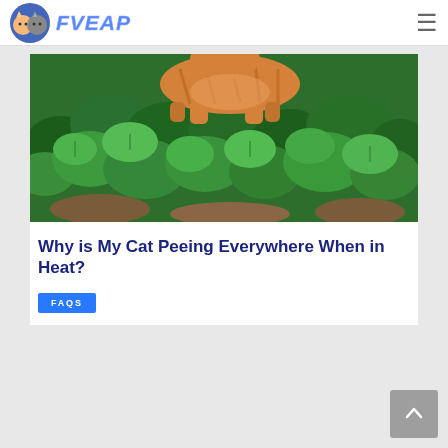FVEAP
[Figure (photo): An orange tabby cat walking on dense green leafy vegetation/bushes outdoors]
Why is My Cat Peeing Everywhere When in Heat?
FAQS